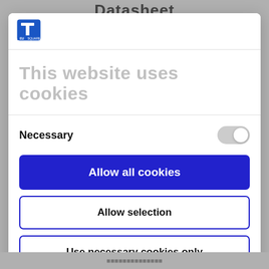Datasheet
[Figure (logo): TI Square logo — blue square with white T and EU/I text]
This website uses cookies
Necessary
Allow all cookies
Allow selection
Use necessary cookies only
Powered by Cookiebot by Usercentrics